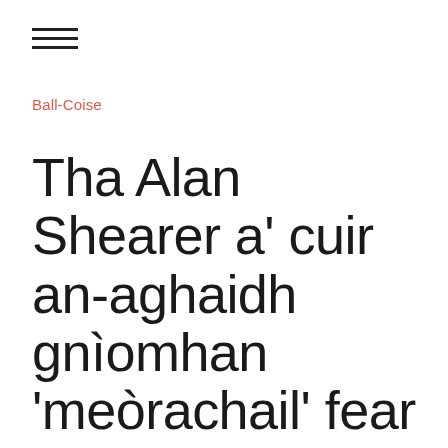≡
Ball-Coise
Tha Alan Shearer a' cuir an-aghaidh gnìomhan 'meòrachail' fear West Ham nuair a bhuannaich e Cupa an FA